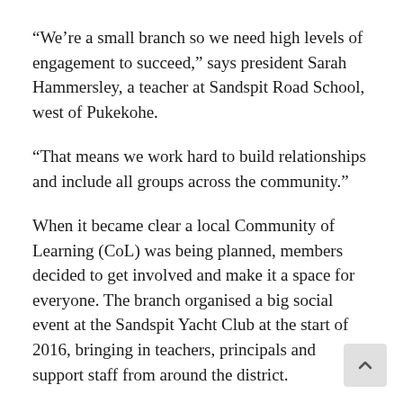“We’re a small branch so we need high levels of engagement to succeed,” says president Sarah Hammersley, a teacher at Sandspit Road School, west of Pukekohe.
“That means we work hard to build relationships and include all groups across the community.”
When it became clear a local Community of Learning (CoL) was being planned, members decided to get involved and make it a space for everyone. The branch organised a big social event at the Sandspit Yacht Club at the start of 2016, bringing in teachers, principals and support staff from around the district.
It was a chance to begin new relationships, build on existing ones, and start discussions about where the community should head. Sandspit School Principal Graeme Newall says the event helped set in train a strongly collaborative approach to the CoL that has got people thinking about the whole community.